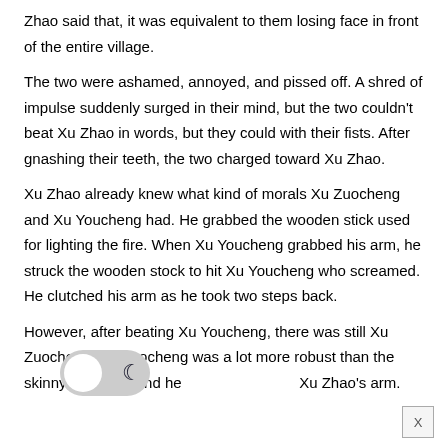Zhao said that, it was equivalent to them losing face in front of the entire village.
The two were ashamed, annoyed, and pissed off. A shred of impulse suddenly surged in their mind, but the two couldn't beat Xu Zhao in words, but they could with their fists. After gnashing their teeth, the two charged toward Xu Zhao.
Xu Zhao already knew what kind of morals Xu Zuocheng and Xu Youcheng had. He grabbed the wooden stick used for lighting the fire. When Xu Youcheng grabbed his arm, he struck the wooden stock to hit Xu Youcheng who screamed. He clutched his arm as he took two steps back.
However, after beating Xu Youcheng, there was still Xu Zuocheng. Xu Zuocheng was a lot more robust than the skinny Xu Zhao, and he grabbed Xu Zhao's arm.